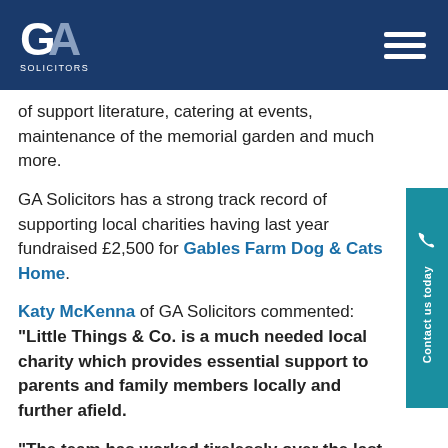GA Solicitors
of support literature, catering at events, maintenance of the memorial garden and much more.
GA Solicitors has a strong track record of supporting local charities having last year fundraised £2,500 for Gables Farm Dog & Cats Home.
Katy McKenna of GA Solicitors commented: “Little Things & Co. is a much needed local charity which provides essential support to parents and family members locally and further afield.
“The team has worked tirelessly over the last year to raise our biggest charity total to date